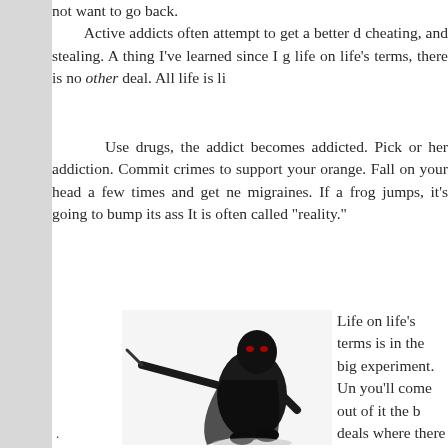not want to go back. Active addicts often attempt to get a better deal by lying, cheating, and stealing. A thing I've learned since I got sober is that, when you live life on life's terms, there is no other deal. All life is life on life's terms.
Use drugs, the addict becomes addicted. Pick a car color and it becomes his or her addiction. Commit crimes to support your habit and you'll wear orange. Fall on your head a few times and get nerve damage, or permanent migraines. If a frog jumps, it's going to bump its ass when it lands every time. It is often called "reality."
[Figure (photo): A figure dressed in black tactical/ninja-style gear and mask, wielding what appears to be a sword or weapon, posed in an action stance against a white background.]
Life on life's terms is in the big experiment. Un you'll come out of it the b deals where there are n name for reality: Death o
.